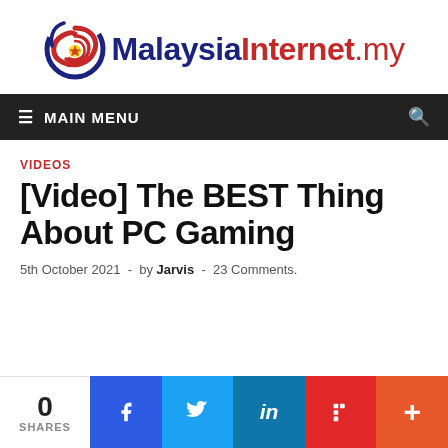[Figure (logo): MalaysiaInternet.my logo with circular icon in red/blue and site name text]
≡ MAIN MENU
VIDEOS
[Video] The BEST Thing About PC Gaming
5th October 2021 - by Jarvis - 23 Comments.
0 SHARES | Facebook | Twitter | LinkedIn | Flipboard | More